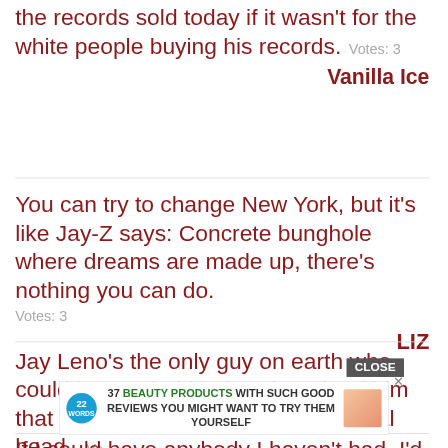the records sold today if it wasn't for the white people buying his records. Votes: 3
Vanilla Ice
You can try to change New York, but it's like Jay-Z says: Concrete bunghole where dreams are made up, there's nothing you can do. Votes: 3
LIZ
Jay Leno's the only guy on earth who could have a bobble head made of him that would bobble less than his actual head. Vo... iendo
[Figure (other): Advertisement overlay: 22 Words logo with text '37 BEAUTY PRODUCTS WITH SUCH GOOD REVIEWS YOU MIGHT WANT TO TRY THEM YOURSELF' with a CLOSE button and X]
If I could have anybody I haven't had, I'd want to interview somebody like Jay-Z or Puff